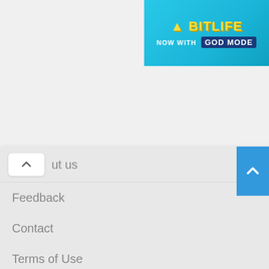[Figure (photo): BitLife game advertisement banner - 'NOW WITH GOD MODE' on blue background]
↑ ut us
Feedback
Contact
Terms of Use
Privacy Policy
Minify HTML online
Minify CSS online
Minify JS (Javascript) online
Online HTML formatter (Beautifier)